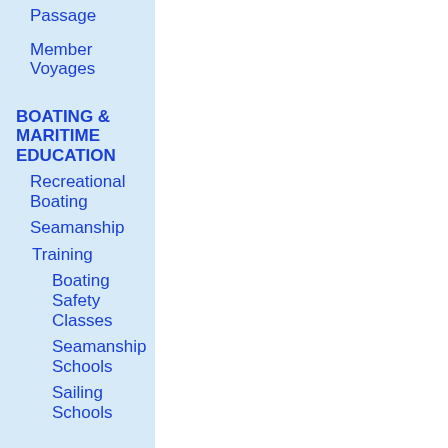Passage
Member Voyages
BOATING & MARITIME EDUCATION
Recreational Boating
Seamanship
Training
Boating Safety Classes
Seamanship Schools
Sailing Schools